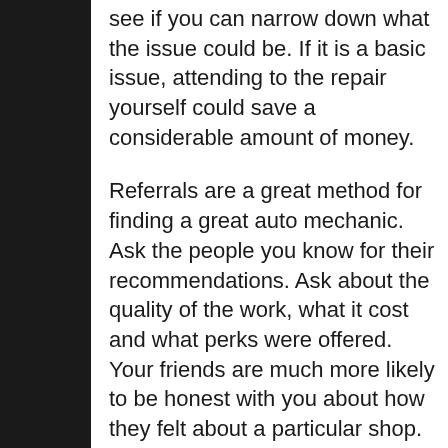see if you can narrow down what the issue could be. If it is a basic issue, attending to the repair yourself could save a considerable amount of money.
Referrals are a great method for finding a great auto mechanic. Ask the people you know for their recommendations. Ask about the quality of the work, what it cost and what perks were offered. Your friends are much more likely to be honest with you about how they felt about a particular shop.
You should always test drive your vehicle after getting some repairs done on it. This way you can avoid paying for repairs that were not finished correctly. A lot of people do not do this; therefore,